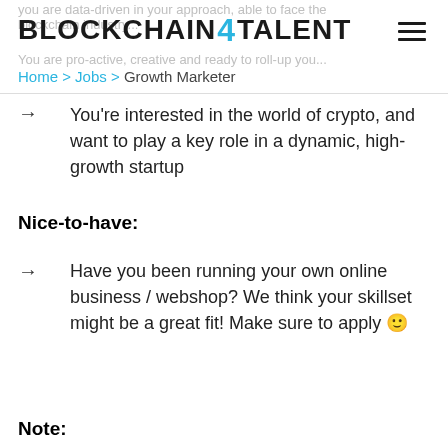BLOCKCHAIN4TALENT
you are data-driven in your approach, able to face the... the blockchain industry...
You are pro-active, creative and ready to roll-up you...
Home > Jobs > Growth Marketer
You're interested in the world of crypto, and want to play a key role in a dynamic, high-growth startup
Nice-to-have:
Have you been running your own online business / webshop? We think your skillset might be a great fit! Make sure to apply 🙂
Note: